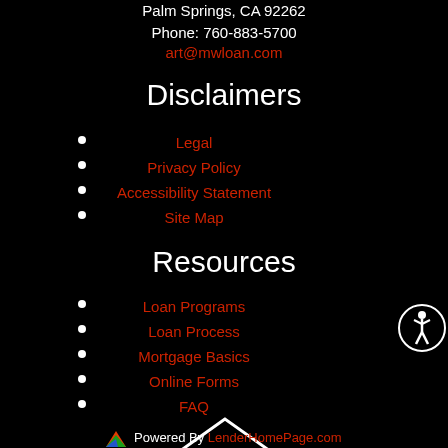Palm Springs, CA 92262
Phone: 760-883-5700
art@mwloan.com
Disclaimers
Legal
Privacy Policy
Accessibility Statement
Site Map
Resources
Loan Programs
Loan Process
Mortgage Basics
Online Forms
FAQ
[Figure (logo): Equal Housing Lender logo — house icon with equals sign, text EQUAL HOUSING LENDER]
Powered By LenderHomePage.com